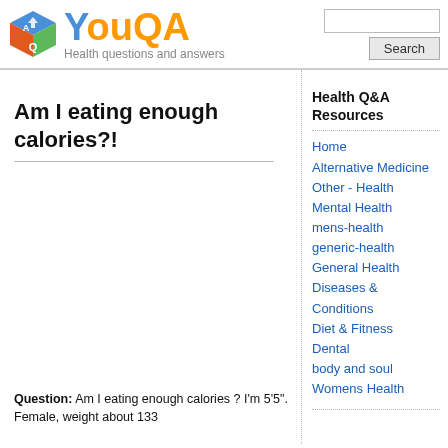[Figure (logo): YouQA logo with colorful cube icon and orange YouQA text, tagline: Health questions and answers]
Am I eating enough calories?!
Health Q&A Resources
Home
Alternative Medicine
Other - Health
Mental Health
mens-health
generic-health
General Health
Diseases & Conditions
Diet & Fitness
Dental
body and soul
Womens Health
Question: Am I eating enough calories ? I’m 5’5”. Female, weight about 133